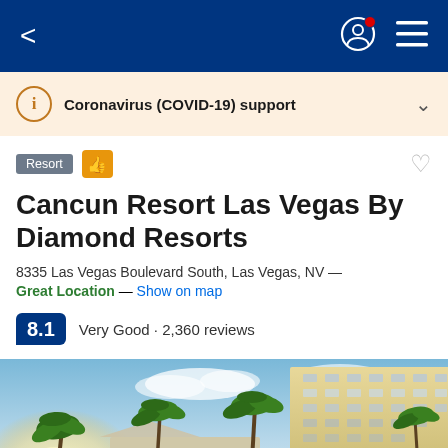Navigation bar with back arrow, profile icon, and menu icon
Coronavirus (COVID-19) support
Cancun Resort Las Vegas By Diamond Resorts
8335 Las Vegas Boulevard South, Las Vegas, NV — Great Location — Show on map
8.1  Very Good · 2,360 reviews
[Figure (photo): Exterior photo of Cancun Resort Las Vegas showing palm trees, pool area, and high-rise hotel building under blue sky]